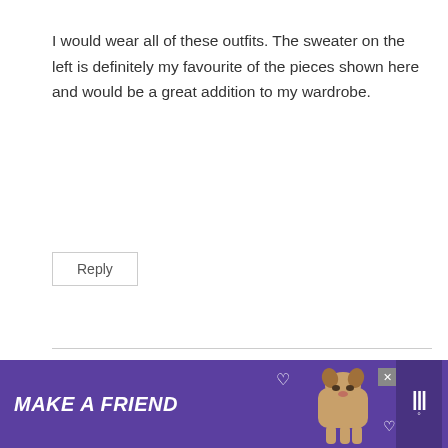I would wear all of these outfits. The sweater on the left is definitely my favourite of the pieces shown here and would be a great addition to my wardrobe.
Reply
Cyndi says:
December 26, 2020 at 4:57 pm
Red is a signature color for me so my eyes were first drawn to those two pieces but the olive green in the center is the one that I ended up liking the most (and of... co... extra
[Figure (other): Purple advertisement banner at bottom of page reading 'MAKE A FRIEND' with a dog photo and heart icons, with an X close button]